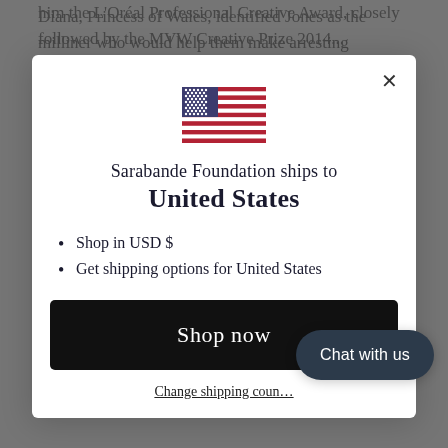Diana, Princess of Wales, identified Jones as the milliner who would help them make arresting headlines. Forty years later,
[Figure (screenshot): Modal dialog showing USA flag, 'Sarabande Foundation ships to United States' message, bullet list with 'Shop in USD $' and 'Get shipping options for United States', a black 'Shop now' button, a 'Change shipping country' link, and a 'Chat with us' bubble in the bottom right.]
him the L'Oréal Professional Creative Award, closely followed by the MVW Creative Prize 2014...